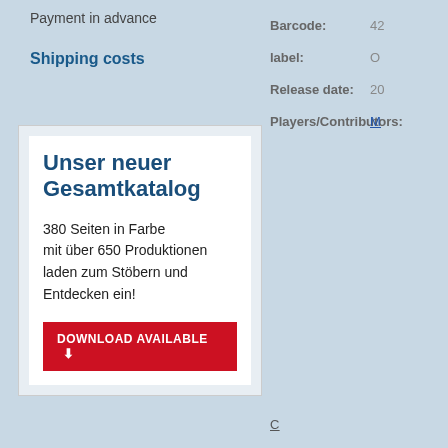Payment in advance
Shipping costs
[Figure (illustration): Promotional box advertising 'Unser neuer Gesamtkatalog' with text '380 Seiten in Farbe mit über 650 Produktionen laden zum Stöbern und Entdecken ein!' and a red 'DOWNLOAD AVAILABLE' button]
Barcode:
42
label:
O
Release date:
20
Players/Contributors:
M
C